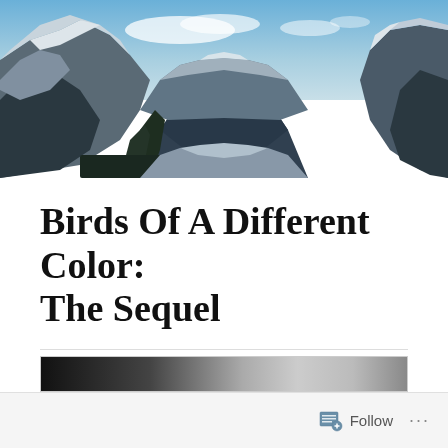[Figure (photo): Wide panoramic mountain landscape photo showing snow-covered peaks, forested valley, and blue sky with clouds. Rocky mountains on left and right with valley receding to center.]
Birds Of A Different Color: The Sequel
ON OCTOBER 11, 2016 / BY ROBERTHANSEN1317
[Figure (photo): Partial view of a black and white gradient image strip at the bottom of the page, partially cut off.]